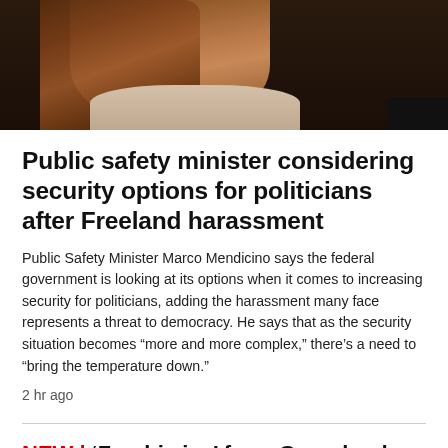[Figure (photo): Photo of a woman with long brown hair, partial face visible, wearing a light-colored top, dark background.]
Public safety minister considering security options for politicians after Freeland harassment
Public Safety Minister Marco Mendicino says the federal government is looking at its options when it comes to increasing security for politicians, adding the harassment many face represents a threat to democracy. He says that as the security situation becomes “more and more complex,” there’s a need to “bring the temperature down.”
2 hr ago
NEW | ‘Zombie ice’ from Greenland will raise sea level 27 centimetres
51 min ago